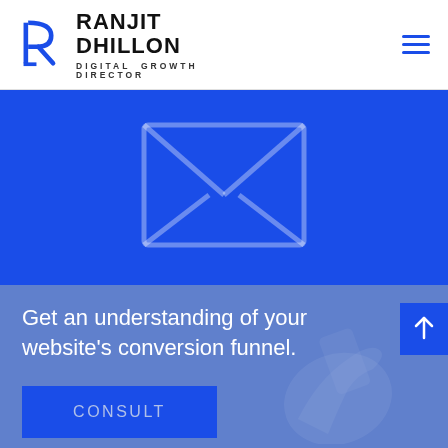[Figure (logo): Ranjit Dhillon Digital Growth Director logo with stylized R icon in blue]
[Figure (illustration): Blue hero section with large envelope/email icon outline on deep blue background]
Get an understanding of your website's conversion funnel.
CONSULT